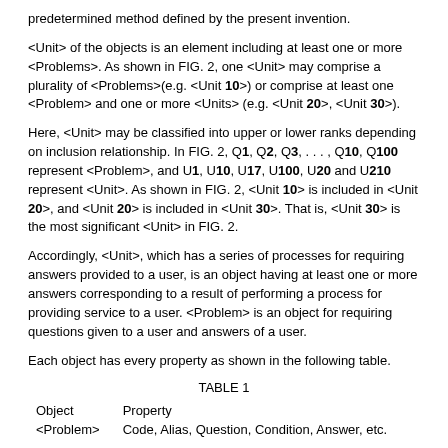predetermined method defined by the present invention.
<Unit> of the objects is an element including at least one or more <Problems>. As shown in FIG. 2, one <Unit> may comprise a plurality of <Problems>(e.g. <Unit 10>) or comprise at least one <Problem> and one or more <Units> (e.g. <Unit 20>, <Unit 30>).
Here, <Unit> may be classified into upper or lower ranks depending on inclusion relationship. In FIG. 2, Q1, Q2, Q3, . . . , Q10, Q100 represent <Problem>, and U1, U10, U17, U100, U20 and U210 represent <Unit>. As shown in FIG. 2, <Unit 10> is included in <Unit 20>, and <Unit 20> is included in <Unit 30>. That is, <Unit 30> is the most significant <Unit> in FIG. 2.
Accordingly, <Unit>, which has a series of processes for requiring answers provided to a user, is an object having at least one or more answers corresponding to a result of performing a process for providing service to a user. <Problem> is an object for requiring questions given to a user and answers of a user.
Each object has every property as shown in the following table.
TABLE 1
| Object | Property |
| --- | --- |
| <Problem> | Code, Alias, Question, Condition, Answer, etc. |